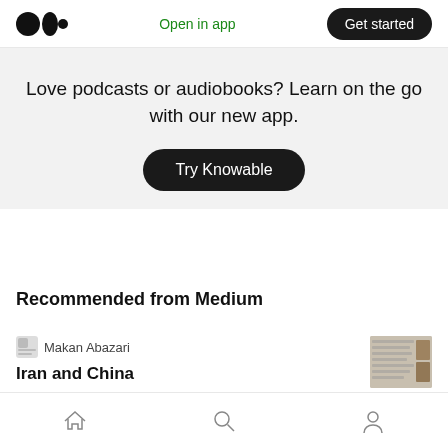Medium logo | Open in app | Get started
Love podcasts or audiobooks? Learn on the go with our new app.
Try Knowable
Recommended from Medium
Makan Abazari
Iran and China
Home | Search | Profile